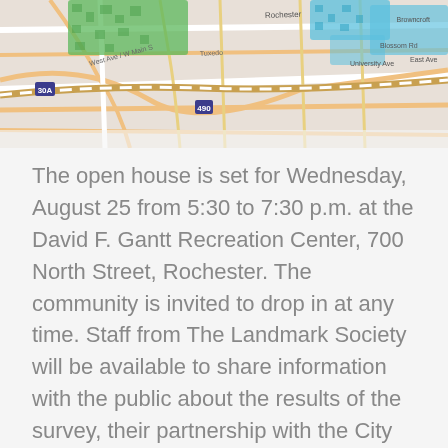[Figure (map): Partial street map of Rochester showing roads and highlighted areas in green and blue/teal, with street labels including 'Rochester', 'University Ave', 'East Ave', 'Blossom Rd', and route markers.]
The open house is set for Wednesday, August 25 from 5:30 to 7:30 p.m. at the David F. Gantt Recreation Center, 700 North Street, Rochester. The community is invited to drop in at any time. Staff from The Landmark Society will be available to share information with the public about the results of the survey, their partnership with the City of Rochester, and answer questions. This project is partially funded by a grant from the New York State Office of Parks, Recreation and Historic Preservation (NYSOPRHP) and The Community Foundation.